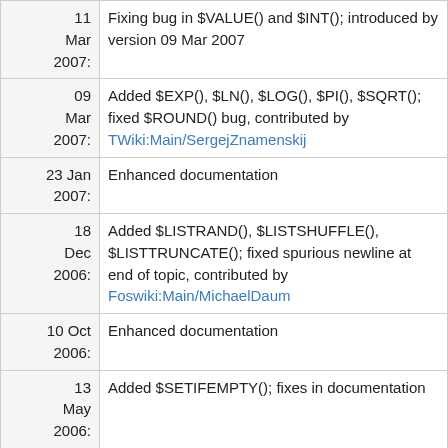| Date | Description |
| --- | --- |
| 11 Mar 2007: | Fixing bug in $VALUE() and $INT(); introduced by version 09 Mar 2007 |
| 09 Mar 2007: | Added $EXP(), $LN(), $LOG(), $PI(), $SQRT(); fixed $ROUND() bug, contributed by TWiki:Main/SergejZnamenskij |
| 23 Jan 2007: | Enhanced documentation |
| 18 Dec 2006: | Added $LISTRAND(), $LISTSHUFFLE(), $LISTTRUNCATE(); fixed spurious newline at end of topic, contributed by Foswiki:Main/MichaelDaum |
| 10 Oct 2006: | Enhanced documentation |
| 13 May 2006: | Added $SETIFEMPTY(); fixes in documentation |
| 17 Jun 2005: | Added $NOEXEC(), $EXEC() |